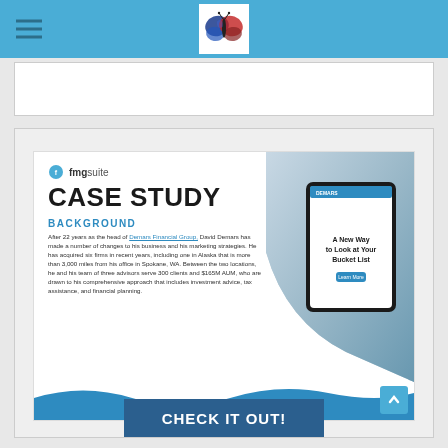fmgsuite (logo header bar)
[Figure (screenshot): FMG Suite case study page screenshot showing 'CASE STUDY' heading, BACKGROUND section with text about Demars Financial Group, and a tablet device photo on the right.]
BACKGROUND
After 22 years as the head of Demars Financial Group, David Demars has made a number of changes to his business and his marketing strategies. He has acquired six firms in recent years, including one in Alaska that is more than 3,000 miles from his office in Spokane, WA. Between the two locations, he and his team of three advisors serve 300 clients and $165M AUM, who are drawn to his comprehensive approach that includes investment advice, tax assistance, and financial planning.
CHECK IT OUT!